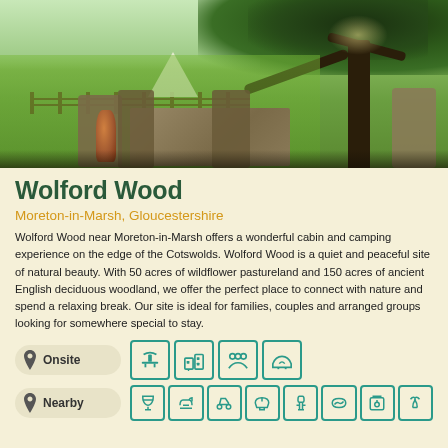[Figure (photo): Outdoor camping/glamping site at Wolford Wood showing a patio with wooden table and chairs, green meadow and trees in background]
Wolford Wood
Moreton-in-Marsh, Gloucestershire
Wolford Wood near Moreton-in-Marsh offers a wonderful cabin and camping experience on the edge of the Cotswolds. Wolford Wood is a quiet and peaceful site of natural beauty. With 50 acres of wildflower pastureland and 150 acres of ancient English deciduous woodland, we offer the perfect place to connect with nature and spend a relaxing break. Our site is ideal for families, couples and arranged groups looking for somewhere special to stay.
[Figure (infographic): Onsite amenities icons row: BBQ/grill, buildings/facilities, group/multiple people, covered structure]
[Figure (infographic): Nearby amenities icons row: cocktail/bar, coffee/cafe, cycling, ferry/boat, bottle, swimming/water, laundry, music/entertainment]